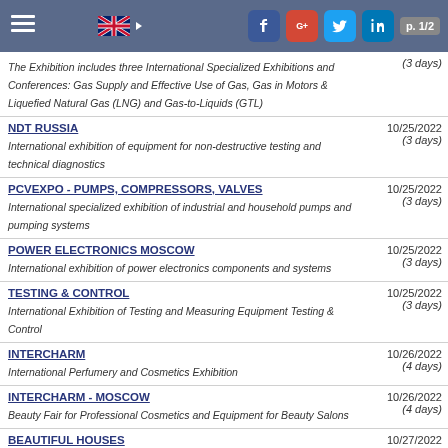p. 1/2
The Exhibition includes three International Specialized Exhibitions and Conferences: Gas Supply and Effective Use of Gas, Gas in Motors & Liquefied Natural Gas (LNG) and Gas-to-Liquids (GTL) | (3 days)
NDT RUSSIA | International exhibition of equipment for non-destructive testing and technical diagnostics | 10/25/2022 | (3 days)
PCVEXPO - PUMPS, COMPRESSORS, VALVES | International specialized exhibition of industrial and household pumps and pumping systems | 10/25/2022 | (3 days)
POWER ELECTRONICS MOSCOW | International exhibition of power electronics components and systems | 10/25/2022 | (3 days)
TESTING & CONTROL | International Exhibition of Testing and Measuring Equipment Testing & Control | 10/25/2022 | (3 days)
INTERCHARM | International Perfumery and Cosmetics Exhibition | 10/26/2022 | (4 days)
INTERCHARM - MOSCOW | Beauty Fair for Professional Cosmetics and Equipment for Beauty Salons | 10/26/2022 | (4 days)
BEAUTIFUL HOUSES | International Exhibition of Architecture and Building | 10/27/2022 | (4 days)
RUSSIAN ARCHITECTURE SALON | Trade show for architects, interior designers and others responsible for prescription | 10/27/2022 | (4 days)
SALON INTERIOR DESIGN | Home Design Show | 10/27/2022 | (4 days)
CLEANEXPO MOSCOW / PULIRE | 11/22/2022